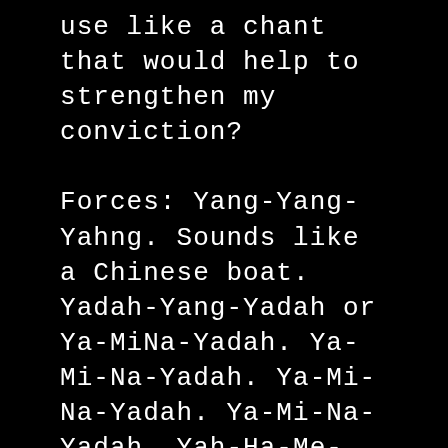use like a chant that would help to strengthen my conviction?

Forces: Yang-Yang-Yahng. Sounds like a Chinese boat. Yadah-Yang-Yadah or Ya-MiNa-Yadah. Ya-Mi-Na-Yadah. Ya-Mi-Na-Yadah. Ya-Mi-Na-Yadah. Yah-Ha-Me-Na-Yadah. Grace of